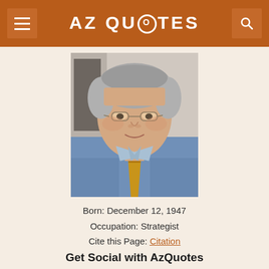AZ QUOTES
[Figure (photo): Portrait photo of a middle-aged man with gray hair, glasses, wearing a blue shirt and patterned tie, smiling slightly]
Born: December 12, 1947
Occupation: Strategist
Cite this Page: Citation
Get Social with AzQuotes